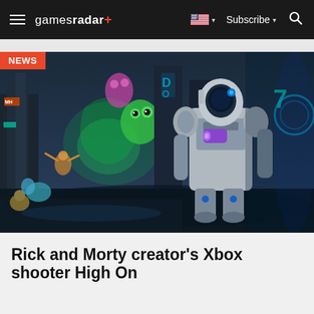gamesradar+  Subscribe
[Figure (screenshot): Hero image from High On Life video game showing a robot character in a colorful sci-fi cityscape with alien creatures]
NEWS
Rick and Morty creator's Xbox shooter High On